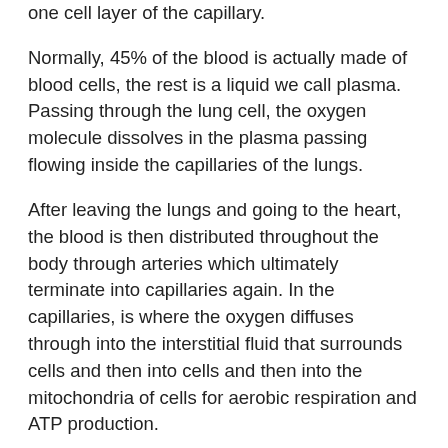one cell layer of the capillary.
Normally, 45% of the blood is actually made of blood cells, the rest is a liquid we call plasma. Passing through the lung cell, the oxygen molecule dissolves in the plasma passing flowing inside the capillaries of the lungs.
After leaving the lungs and going to the heart, the blood is then distributed throughout the body through arteries which ultimately terminate into capillaries again. In the capillaries, is where the oxygen diffuses through into the interstitial fluid that surrounds cells and then into cells and then into the mitochondria of cells for aerobic respiration and ATP production.